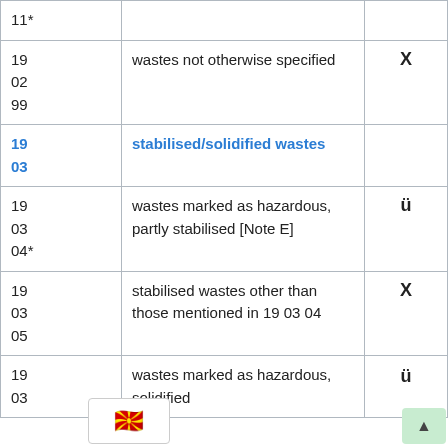| Code | Description | Mark |
| --- | --- | --- |
| 11* |  |  |
| 19 02 99 | wastes not otherwise specified | X |
| 19 03 | stabilised/solidified wastes |  |
| 19 03 04* | wastes marked as hazardous, partly stabilised [Note E] | ü |
| 19 03 05 | stabilised wastes other than those mentioned in 19 03 04 | X |
| 19 03 | wastes marked as hazardous, solidified | ü |